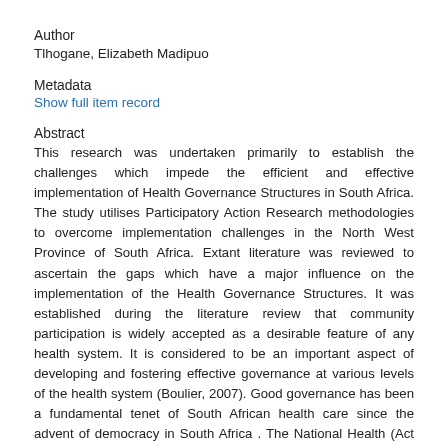Author
Tlhogane, Elizabeth Madipuo
Metadata
Show full item record
Abstract
This research was undertaken primarily to establish the challenges which impede the efficient and effective implementation of Health Governance Structures in South Africa. The study utilises Participatory Action Research methodologies to overcome implementation challenges in the North West Province of South Africa. Extant literature was reviewed to ascertain the gaps which have a major influence on the implementation of the Health Governance Structures. It was established during the literature review that community participation is widely accepted as a desirable feature of any health system. It is considered to be an important aspect of developing and fostering effective governance at various levels of the health system (Boulier, 2007). Good governance has been a fundamental tenet of South African health care since the advent of democracy in South Africa . The National Health (Act No. 61 of 2003), makes provision for formally-constituted , broad-based governance structures which include community